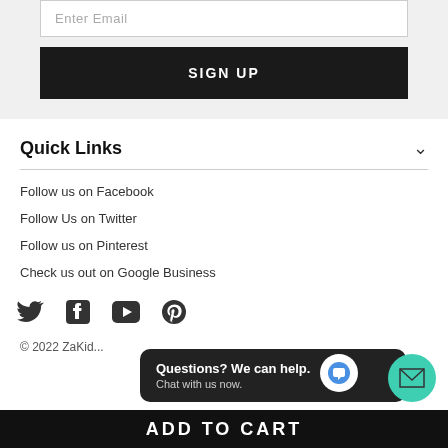Enter Email
SIGN UP
Quick Links
Follow us on Facebook
Follow Us on Twitter
Follow us on Pinterest
Check us out on Google Business
[Figure (infographic): Social media icons: Twitter, Facebook, YouTube, Pinterest]
© 2022 ZaKid...
Questions? We can help. Chat with us now.
ADD TO CART